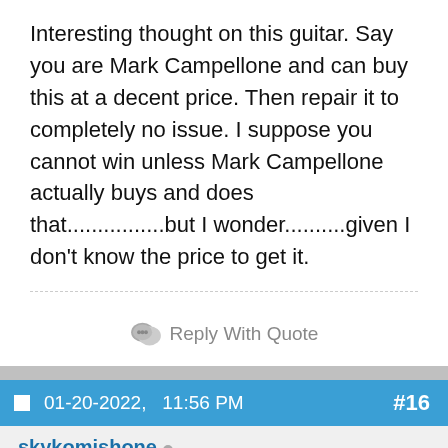Interesting thought on this guitar. Say you are Mark Campellone and can buy this at a decent price. Then repair it to completely no issue. I suppose you cannot win unless Mark Campellone actually buys and does that................but I wonder..........given I don't know the price to get it.
Reply With Quote
01-20-2022,   11:56 PM   #16
skykomishone
Very excellent condition indeed! It would be a great project for someone. If you could get it for a couple